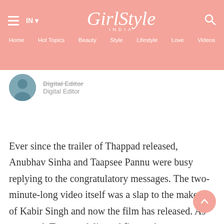GirlStyle INDIA — IN · Home · Hot Topics · Beauty · Style · Lifestyle · Love · Videos
Digital Editor
Ever since the trailer of Thappad released, Anubhav Sinha and Taapsee Pannu were busy replying to the congratulatory messages. The two-minute-long video itself was a slap to the makers of Kabir Singh and now the film has released. As expected, Taapsee delivered firecracker performance. Most of